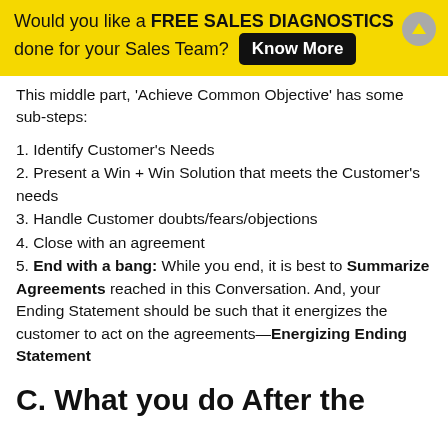Would you like a FREE SALES DIAGNOSTICS done for your Sales Team? Know More
This middle part, 'Achieve Common Objective' has some sub-steps:
1. Identify Customer's Needs
2. Present a Win + Win Solution that meets the Customer's needs
3. Handle Customer doubts/fears/objections
4. Close with an agreement
5. End with a bang: While you end, it is best to Summarize Agreements reached in this Conversation. And, your Ending Statement should be such that it energizes the customer to act on the agreements—Energizing Ending Statement
C. What you do After the